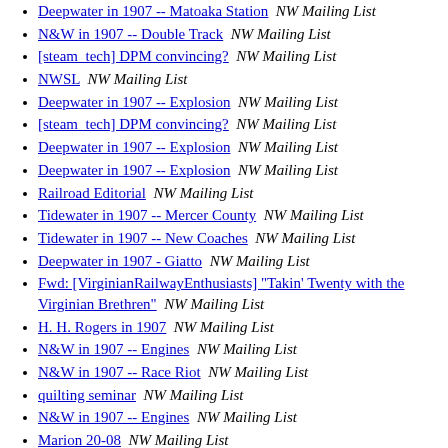Deepwater in 1907 -- Matoaka Station  NW Mailing List
N&W in 1907 -- Double Track  NW Mailing List
[steam_tech] DPM convincing?  NW Mailing List
NWSL  NW Mailing List
Deepwater in 1907 -- Explosion  NW Mailing List
[steam_tech] DPM convincing?  NW Mailing List
Deepwater in 1907 -- Explosion  NW Mailing List
Deepwater in 1907 -- Explosion  NW Mailing List
Railroad Editorial  NW Mailing List
Tidewater in 1907 -- Mercer County  NW Mailing List
Tidewater in 1907 -- New Coaches  NW Mailing List
Deepwater in 1907 - Giatto  NW Mailing List
Fwd: [VirginianRailwayEnthusiasts] "Takin' Twenty with the Virginian Brethren"  NW Mailing List
H. H. Rogers in 1907  NW Mailing List
N&W in 1907 -- Engines  NW Mailing List
N&W in 1907 -- Race Riot  NW Mailing List
quilting seminar  NW Mailing List
N&W in 1907 -- Engines  NW Mailing List
Marion 20-08  NW Mailing List
Marion 20-08  NW Mailing List
N&W in 1907 -- Engines  NW Mailing List
Marion Convention Flyer  NW Mailing List
Tidewater in 1907 -- New Coaches  NW Mailing List
quilting seminar  NW Mailing List
Deepwater and Tidewater in 1907 -- NW Mailing List